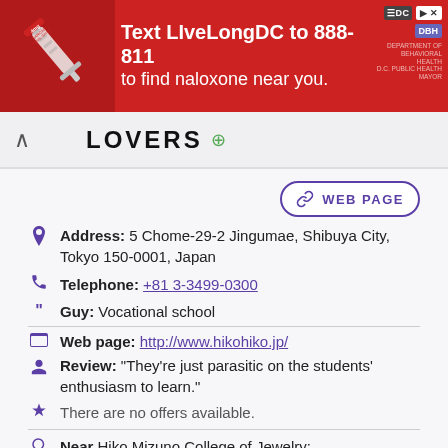[Figure (screenshot): Red advertisement banner: 'Text LIveLongDC to 888-811 to find naloxone near you.' with DC and DBH logos and a syringe image on the left.]
LOVERS
Address: 5 Chome-29-2 Jingumae, Shibuya City, Tokyo 150-0001, Japan
Telephone: +81 3-3499-0300
Guy: Vocational school
Web page: http://www.hikohiko.jp/
Review: "They're just parasitic on the students' enthusiasm to learn."
There are no offers available.
Near Hiko Mizuno College of Jewelry:
a 12 meters away inline skates stores: FTC